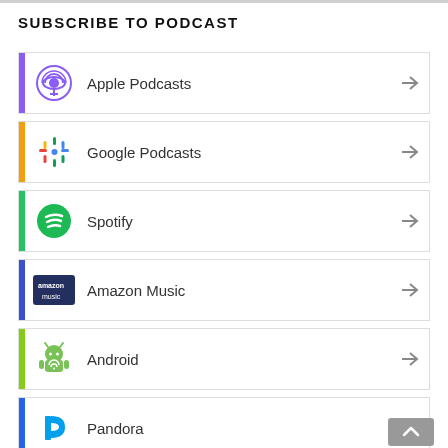SUBSCRIBE TO PODCAST
Apple Podcasts
Google Podcasts
Spotify
Amazon Music
Android
Pandora